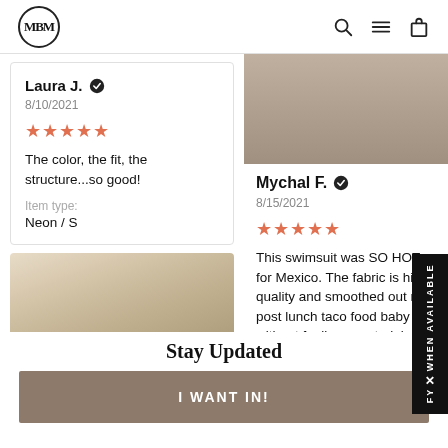[Figure (logo): MBM circular monogram logo]
[Figure (screenshot): Navigation icons: search, hamburger menu, shopping bag]
[Figure (photo): Photo of a person taking a selfie in a mirror]
Laura J. ✓
8/10/2021
★★★★★
The color, the fit, the structure...so good!
Item type:
Neon / S
[Figure (photo): Top portion of a photo, partial legs/beach scene]
Mychal F. ✓
8/15/2021
★★★★★
This swimsuit was SO HOT for Mexico. The fabric is high quality and smoothed out my post lunch taco food baby without feeling constraining. It also stayed in place during
[Figure (other): FY WHEN AVAILABLE side banner in black]
Stay Updated
I WANT IN!